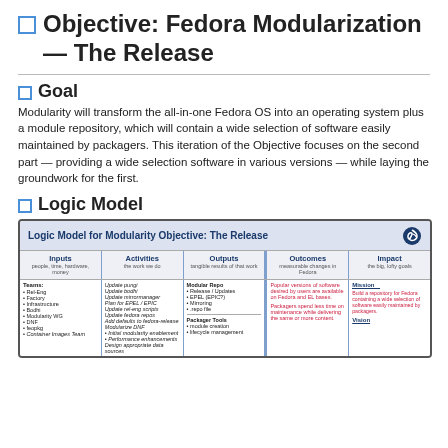Objective: Fedora Modularization — The Release
Goal
Modularity will transform the all-in-one Fedora OS into an operating system plus a module repository, which will contain a wide selection of software easily maintained by packagers. This iteration of the Objective focuses on the second part — providing a wide selection software in various versions — while laying the groundwork for the first.
Logic Model
[Figure (infographic): Logic Model for Modularity Objective: The Release — a table with columns: Inputs, Activities, Outputs, Outcomes, Impact. Rows contain teams, tasks, modular repo details, outcomes about popular software versions, and mission/vision statements.]